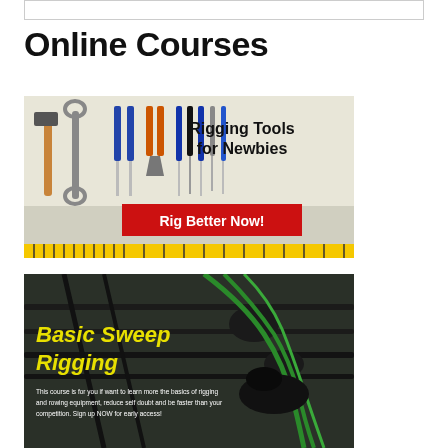[Figure (other): Top navigation bar / search bar area]
Online Courses
[Figure (photo): Promotional banner for 'Rigging Tools for Newbies' online course showing various tools (hammer, wrench, screwdrivers, pliers) on a light background with red button 'Rig Better Now!' and yellow tape measure at the bottom]
[Figure (photo): Promotional banner for 'Basic Sweep Rigging' course showing a rowing boat sweep rigging equipment from above with yellow italic text overlay and description: 'This course is for you if want to learn more the basics of rigging and rowing equipment, reduce self doubt and be faster than your competition. Sign up NOW for early access!']